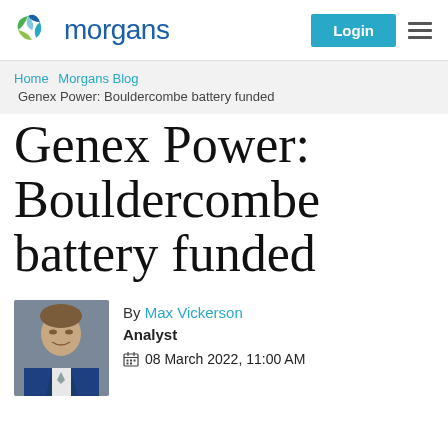Morgans — Login
Home  Morgans Blog
Genex Power: Bouldercombe battery funded
Genex Power: Bouldercombe battery funded
By Max Vickerson
Analyst
08 March 2022, 11:00 AM